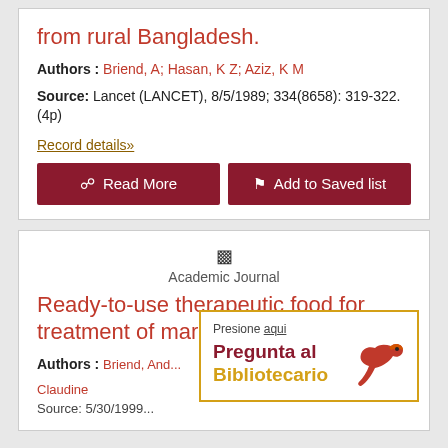from rural Bangladesh.
Authors : Briend, A; Hasan, K Z; Aziz, K M
Source: Lancet (LANCET), 8/5/1989; 334(8658): 319-322. (4p)
Record details»
Read More
Add to Saved list
Academic Journal
Ready-to-use therapeutic food for treatment of marasmus.
Authors : Briend, And... Claudine
Presione aqui
Pregunta al Bibliotecario